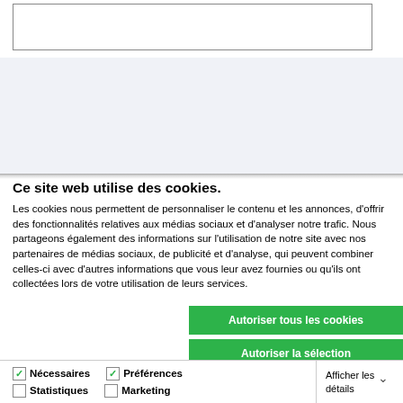[Figure (screenshot): Empty white input box with dark border at top of page]
[Figure (screenshot): Light gray/blue background section below the input box]
Ce site web utilise des cookies.
Les cookies nous permettent de personnaliser le contenu et les annonces, d'offrir des fonctionnalités relatives aux médias sociaux et d'analyser notre trafic. Nous partageons également des informations sur l'utilisation de notre site avec nos partenaires de médias sociaux, de publicité et d'analyse, qui peuvent combiner celles-ci avec d'autres informations que vous leur avez fournies ou qu'ils ont collectées lors de votre utilisation de leurs services.
Autoriser tous les cookies
Autoriser la sélection
Cookies nécessaires uniquement
Nécessaires  Préférences  Statistiques  Marketing  Afficher les détails